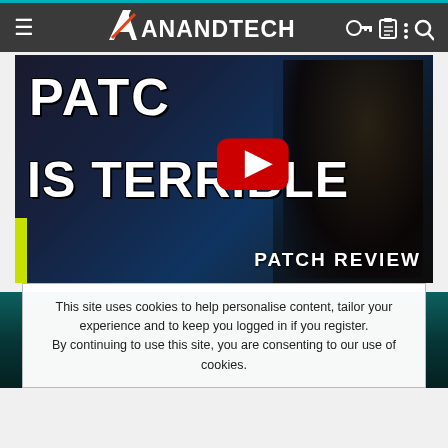AnandTech
[Figure (screenshot): YouTube video thumbnail showing text 'PATCH IS TERRIBLE - PATCH REVIEW' with a dark fantasy game character on the right and a red YouTube play button in the center]
[Figure (other): Dark teal colored advertisement or content banner area]
This site uses cookies to help personalise content, tailor your experience and to keep you logged in if you register.
By continuing to use this site, you are consenting to our use of cookies.